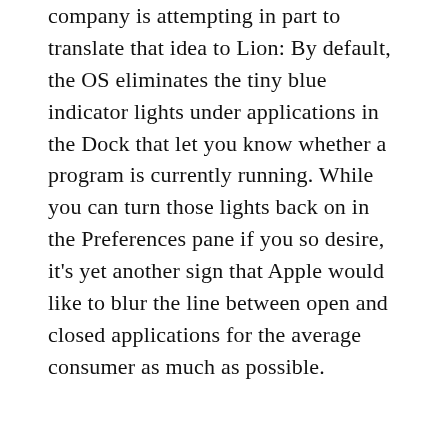company is attempting in part to translate that idea to Lion: By default, the OS eliminates the tiny blue indicator lights under applications in the Dock that let you know whether a program is currently running. While you can turn those lights back on in the Preferences pane if you so desire, it's yet another sign that Apple would like to blur the line between open and closed applications for the average consumer as much as possible.
ADVERTISEMENT
[Figure (logo): Best Buy advertisement banner with blue gradient background and white 'BEST BUY.' logo text with yellow price tag icon]